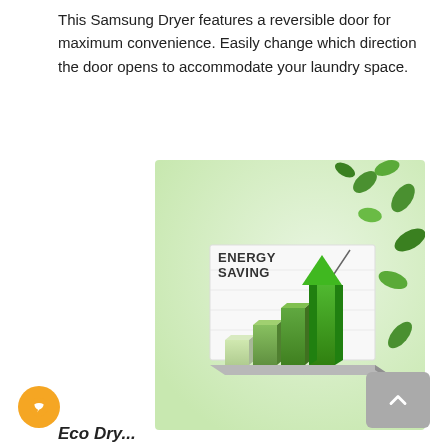This Samsung Dryer features a reversible door for maximum convenience. Easily change which direction the door opens to accommodate your laundry space.
[Figure (illustration): Promotional illustration showing a 3D bar chart with green bars increasing in height, labeled 'ENERGY SAVING' in bold text, with green leaves flying around it on a light green background.]
Eco Dry...